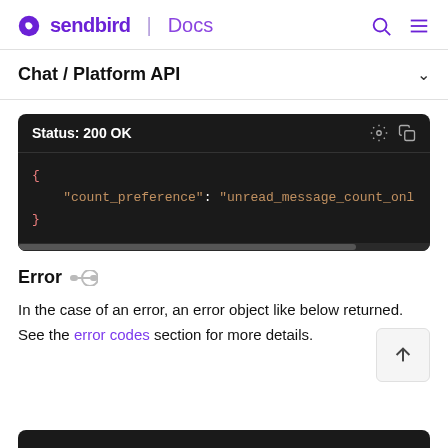sendbird | Docs
Chat / Platform API
[Figure (screenshot): Dark-themed code block showing HTTP Status 200 OK response with JSON: { "count_preference": "unread_message_count_onl with a horizontal scrollbar]
Error
In the case of an error, an error object like below returned. See the error codes section for more details.